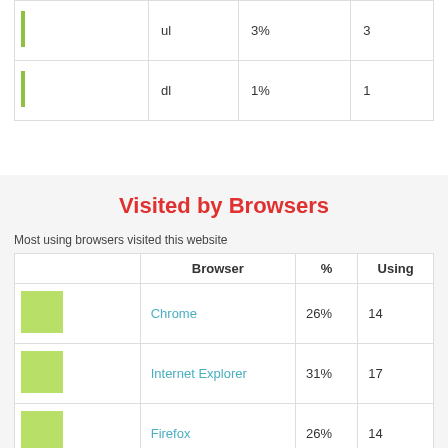|  |  | % |  |
| --- | --- | --- | --- |
|  | ul | 3% | 3 |
|  | dl | 1% | 1 |
Visited by Browsers
Most using browsers visited this website
|  | Browser | % | Using |
| --- | --- | --- | --- |
|  | Chrome | 26% | 14 |
|  | Internet Explorer | 31% | 17 |
|  | Firefox | 26% | 14 |
|  | Safari | 17% | 9 |
|  | Opera | 2% | 1 |